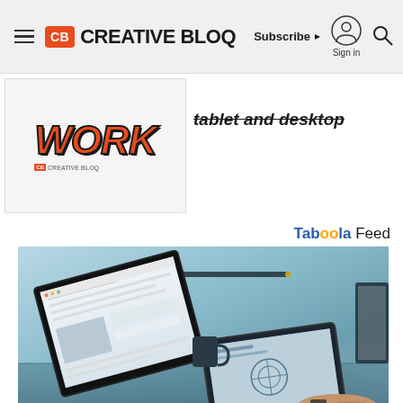Creative Bloq — Subscribe | Sign in | Search
[Figure (logo): Creative Bloq logo with CB orange box and bold uppercase text]
[Figure (photo): Stylized graffiti-style 'WORK' text with Creative Bloq branding — advertisement]
tablet and desktop
Tab00la Feed
[Figure (photo): Photo of a person using a laptop/tablet setup on a blue desk with dual screens, Surface-style devices visible]